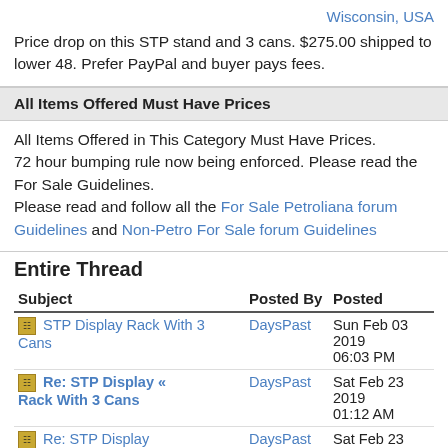Wisconsin, USA
Price drop on this STP stand and 3 cans. $275.00 shipped to lower 48. Prefer PayPal and buyer pays fees.
All Items Offered Must Have Prices
All Items Offered in This Category Must Have Prices.
72 hour bumping rule now being enforced. Please read the For Sale Guidelines.
Please read and follow all the For Sale Petroliana forum Guidelines and Non-Petro For Sale forum Guidelines
Entire Thread
| Subject | Posted By | Posted |
| --- | --- | --- |
| STP Display Rack With 3 Cans | DaysPast | Sun Feb 03 2019 06:03 PM |
| Re: STP Display « Rack With 3 Cans | DaysPast | Sat Feb 23 2019 01:12 AM |
| Re: STP Display | DaysPast | Sat Feb 23 2019 |